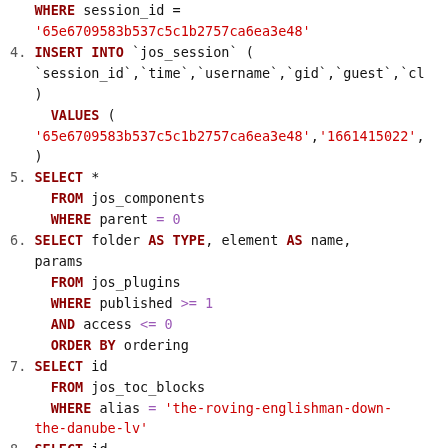SQL code listing showing queries 4-8 (partial), including INSERT INTO jos_session, SELECT * FROM jos_components WHERE parent = 0, SELECT folder AS TYPE element AS name params FROM jos_plugins WHERE published >= 1 AND access <= 0 ORDER BY ordering, SELECT id FROM jos_toc_blocks WHERE alias = 'the-roving-englishman-down-the-danube-lv', and partial SELECT id